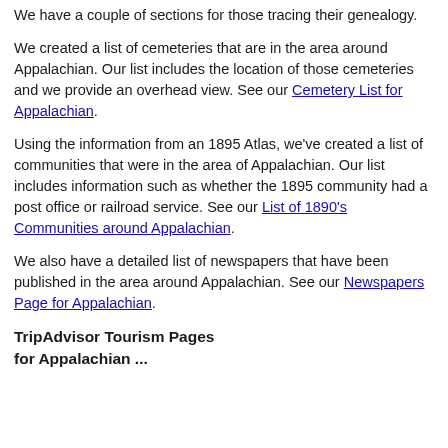We have a couple of sections for those tracing their genealogy.
We created a list of cemeteries that are in the area around Appalachian. Our list includes the location of those cemeteries and we provide an overhead view. See our Cemetery List for Appalachian.
Using the information from an 1895 Atlas, we've created a list of communities that were in the area of Appalachian. Our list includes information such as whether the 1895 community had a post office or railroad service. See our List of 1890's Communities around Appalachian.
We also have a detailed list of newspapers that have been published in the area around Appalachian. See our Newspapers Page for Appalachian.
TripAdvisor Tourism Pages for Appalachian ...